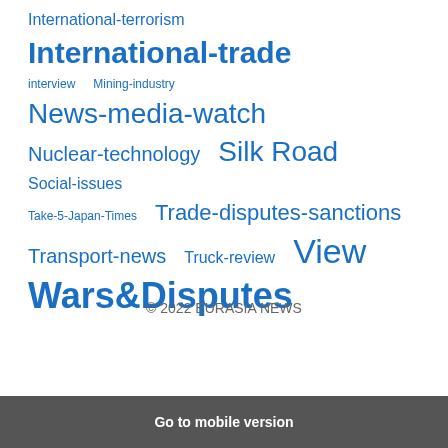International-terrorism International-trade
interview Mining-industry News-media-watch
Nuclear-technology Silk Road Social-issues
Take-5-Japan-Times Trade-disputes-sanctions
Transport-news Truck-review View
Wars&Disputes
© 2022 EURASIA NEWS
Go to mobile version